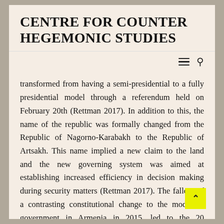CENTRE FOR COUNTER HEGEMONIC STUDIES
transformed from having a semi-presidential to a fully presidential model through a referendum held on February 20th (Rettman 2017). In addition to this, the name of the republic was formally changed from the Republic of Nagorno-Karabakh to the Republic of Artsakh. This name implied a new claim to the land and the new governing system was aimed at establishing increased efficiency in decision making during security matters (Rettman 2017). The fallout of a contrasting constitutional change to the model of government in Armenia in 2015, led to the 20 movement by the Armenian public; calling fo the former two term president and then newly